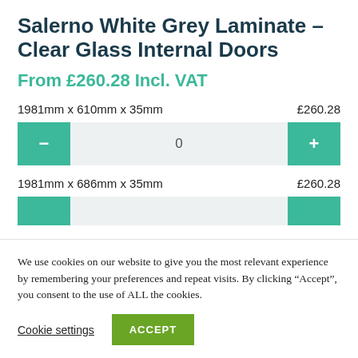Salerno White Grey Laminate – Clear Glass Internal Doors
From £260.28 Incl. VAT
1981mm x 610mm x 35mm    £260.28
1981mm x 686mm x 35mm    £260.28
We use cookies on our website to give you the most relevant experience by remembering your preferences and repeat visits. By clicking “Accept”, you consent to the use of ALL the cookies.
Cookie settings
ACCEPT